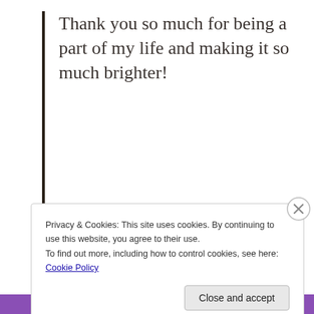Thank you so much for being a part of my life and making it so much brighter!
24 Comments
Privacy & Cookies: This site uses cookies. By continuing to use this website, you agree to their use.
To find out more, including how to control cookies, see here: Cookie Policy
Close and accept